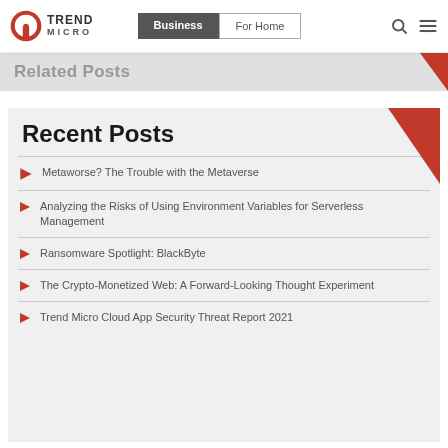Trend Micro | Business / For Home navigation
Related Posts
Recent Posts
Metaworse? The Trouble with the Metaverse
Analyzing the Risks of Using Environment Variables for Serverless Management
Ransomware Spotlight: BlackByte
The Crypto-Monetized Web: A Forward-Looking Thought Experiment
Trend Micro Cloud App Security Threat Report 2021